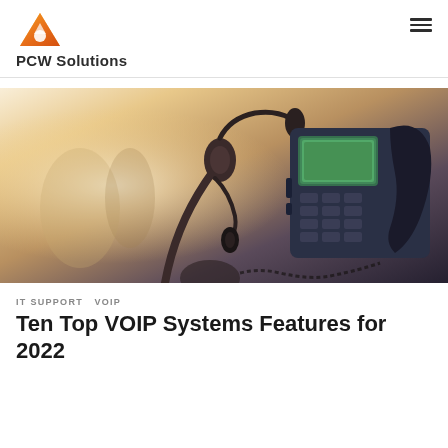PCW Solutions
[Figure (photo): Close-up photo of a desktop VoIP phone with handset and a headset with microphone in an office environment]
IT SUPPORT  VOIP
Ten Top VOIP Systems Features for 2022